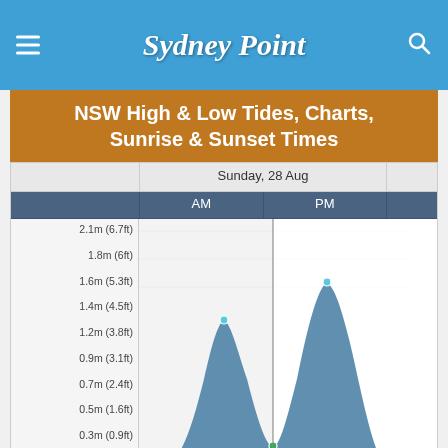Sydney Point
NSW High & Low Tides, Charts, Sunrise & Sunset Times
[Figure (area-chart): Tide chart for Sunday 28 Aug showing two high tides and two low tides. Y-axis labels: 2.1m(6.7ft), 1.8m(6ft), 1.6m(5.3ft), 1.4m(4.5ft), 1.2m(3.8ft), 0.9m(3.1ft), 0.7m(2.4ft), 0.5m(1.6ft), 0.3m(0.9ft), 0.1m(0.2ft). AM high ~1.3m, PM high ~1.6m, two lows ~0.1m]